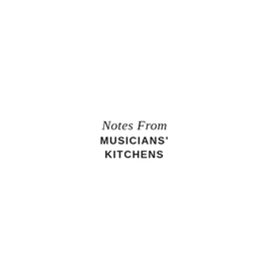Notes From MUSICIANS' KITCHENS